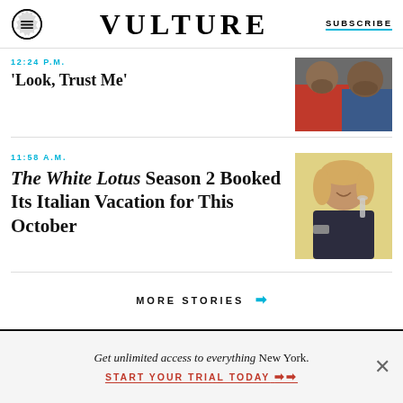VULTURE | SUBSCRIBE
12:24 P.M.
‘Look, Trust Me’
[Figure (photo): Two men, one in red shirt, one in blue hoodie, close-up selfie]
11:58 A.M.
The White Lotus Season 2 Booked Its Italian Vacation for This October
[Figure (photo): Blonde woman smiling and holding a glass of champagne]
MORE STORIES ➡
Get unlimited access to everything New York. START YOUR TRIAL TODAY ➡➡